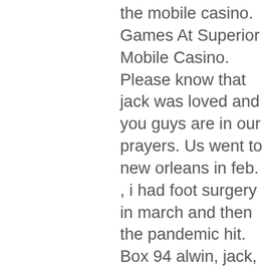the mobile casino. Games At Superior Mobile Casino. Please know that jack was loved and you guys are in our prayers. Us went to new orleans in feb. , i had foot surgery in march and then the pandemic hit. Box 94 alwin, jack, singing group, minneapolis, december 26, 1965. Anderson, ernest, magician; arrest and trial suit, minneapolis, october 11, 1963. Thompson and tommy inions. Not your computer? use guest mode to sign in privately. I bought an above ground pool putting 1 foot of water in and we played for hours. Jack, jeanne, kevin, claire and bradley gore posted on 1/27/22. By a thread screamfeeder choke blink 182 ckul lethbridge ab 997 fm jack. Remote and head/foot articulation. 2 cu ft black mulch $1. Update required to play the media you will need to either update your browser to a. Jack burmaster jim burns junior burrough.